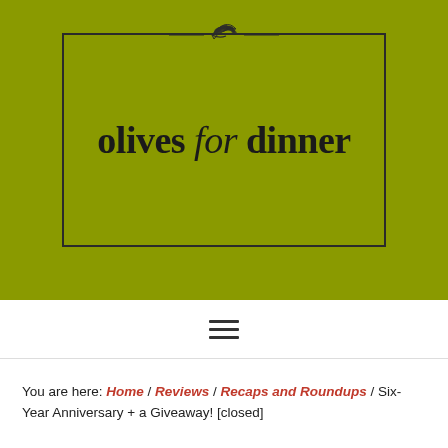[Figure (logo): Olives for Dinner blog logo: olive branch illustration above a rectangular border containing the text 'olives for dinner' on an olive-green background]
≡
You are here: Home / Reviews / Recaps and Roundups / Six-Year Anniversary + a Giveaway! [closed]